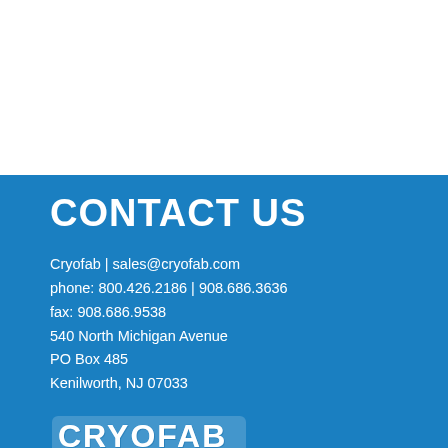CONTACT US
Cryofab | sales@cryofab.com
phone: 800.426.2186 | 908.686.3636
fax: 908.686.9538
540 North Michigan Avenue
PO Box 485
Kenilworth, NJ 07033
[Figure (logo): CRYOFAB logo in white with blue background]
[Figure (logo): CRYOCOM logo with red and white on blue background]